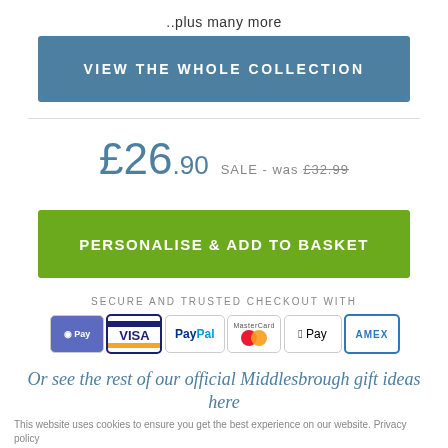..plus many more
[Figure (other): Blue button: VIEW THE WHOLE COLLECTION]
£26.90  SALE - was £32.99
[Figure (other): Green button: PERSONALISE & ADD TO BASKET]
SECURE AND TRUSTED CHECKOUT WITH
[Figure (other): Payment icons: Shopify Pay, VISA, PayPal, MasterCard, Apple Pay, AMEX]
Or see the rest of our official Middlesbrough gift ideas here
This website uses cookies to ensure you get the best experience on our website. Privacy policy